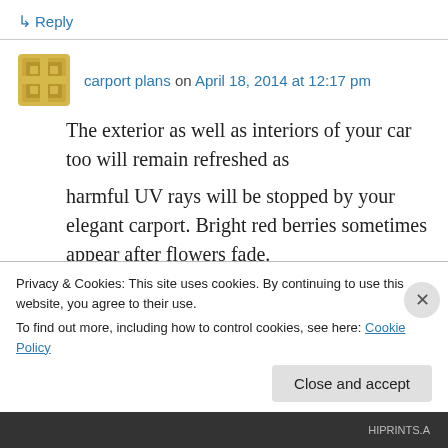↳ Reply
carport plans on April 18, 2014 at 12:17 pm
The exterior as well as interiors of your car too will remain refreshed as harmful UV rays will be stopped by your elegant carport. Bright red berries sometimes appear after flowers fade.

Goats don't like cold, wet ground, so this could pose a problem.
Privacy & Cookies: This site uses cookies. By continuing to use this website, you agree to their use.
To find out more, including how to control cookies, see here: Cookie Policy
Close and accept